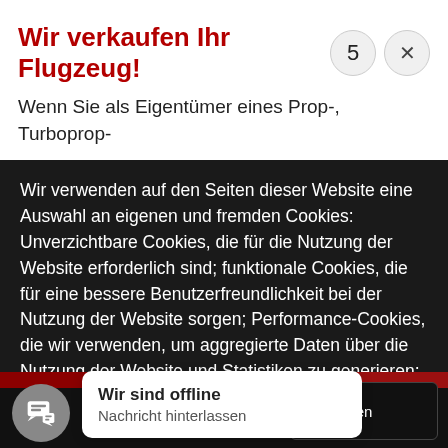Wir verkaufen Ihr Flugzeug!
Wenn Sie als Eigentümer eines Prop-, Turboprop-
Wir verwenden auf den Seiten dieser Website eine Auswahl an eigenen und fremden Cookies: Unverzichtbare Cookies, die für die Nutzung der Website erforderlich sind; funktionale Cookies, die für eine bessere Benutzerfreundlichkeit bei der Nutzung der Website sorgen; Performance-Cookies, die wir verwenden, um aggregierte Daten über die Nutzung der Website und Statistiken zu generieren; und Marketing-Cookies, die verwendet werden, um relevante Inhalte und Werbung
Alles verweigern
Alle akzeptieren
Wir sind offline
Nachricht hinterlassen